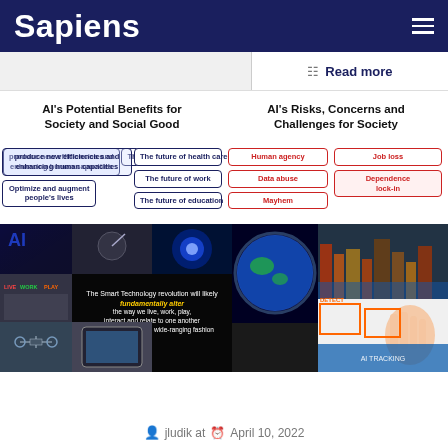Sapiens
Read more
AI's Potential Benefits for Society and Social Good
AI's Risks, Concerns and Challenges for Society
produce new efficiencies and enhancing human capacities
The future of health care
The future of work
The future of education
Optimize and augment people's lives
Human agency
Job loss
Data abuse
Dependence lock-in
Mayhem
[Figure (photo): Collage of AI-related images including technology, earth from space, smart city, and AI vision detection scenes. Text overlay reads: The Smart Technology revolution will likely fundamentally alter the way we live, work, play, interact and relate to one another in an all-inclusive and wide-ranging fashion]
jludik at  April 10, 2022